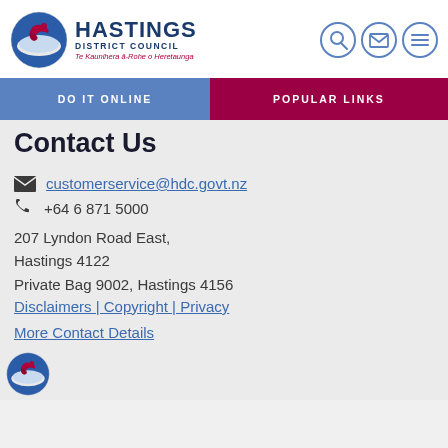[Figure (logo): Hastings District Council logo with circular emblem and text: HASTINGS DISTRICT COUNCIL, Te Kaunihera ā-Rohe o Heretaunga]
[Figure (infographic): Three circular icon buttons: search magnifier, envelope/mail, and menu/hamburger]
DO IT ONLINE
POPULAR LINKS
Contact Us
customerservice@hdc.govt.nz
+64 6 871 5000
207 Lyndon Road East,
Hastings 4122
Private Bag 9002, Hastings 4156
Disclaimers | Copyright | Privacy
More Contact Details
[Figure (logo): Partial Hastings District Council logo visible at bottom]